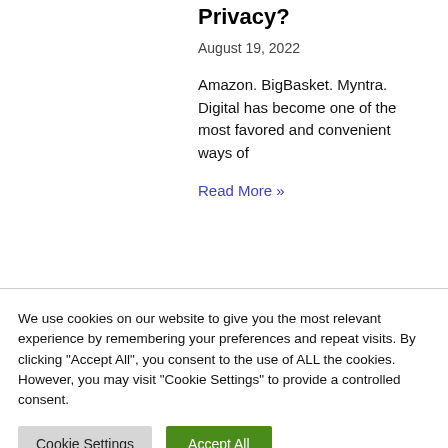Privacy?
August 19, 2022
Amazon. BigBasket. Myntra. Digital has become one of the most favored and convenient ways of
Read More »
We use cookies on our website to give you the most relevant experience by remembering your preferences and repeat visits. By clicking "Accept All", you consent to the use of ALL the cookies. However, you may visit "Cookie Settings" to provide a controlled consent.